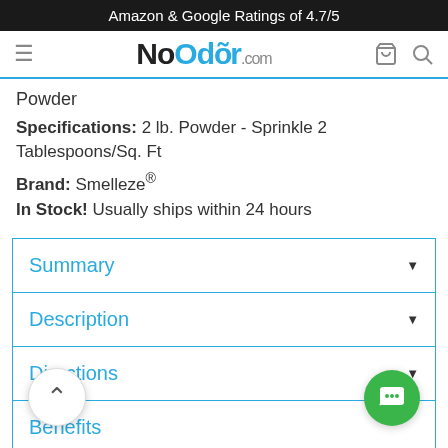Amazon & Google Ratings of 4.7/5
[Figure (logo): NoOdor.com logo with hamburger menu, cart and search icons]
Powder
Specifications: 2 lb. Powder - Sprinkle 2 Tablespoons/Sq. Ft
Brand: Smelleze®
In Stock! Usually ships within 24 hours
Summary
Description
Directions
Benefits
eos